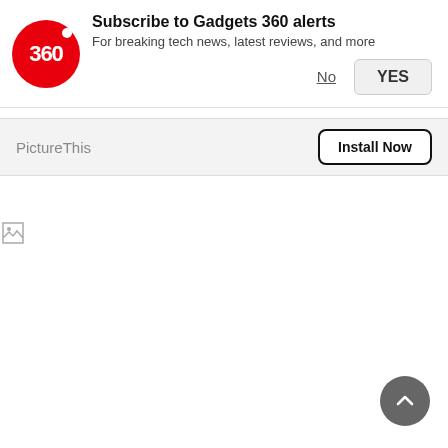[Figure (screenshot): Gadgets 360 push notification prompt with red circular logo showing '360', title 'Subscribe to Gadgets 360 alerts', subtitle 'For breaking tech news, latest reviews, and more', and No/YES buttons]
PictureThis
[Figure (other): Broken image icon (small) in the lower section of the page]